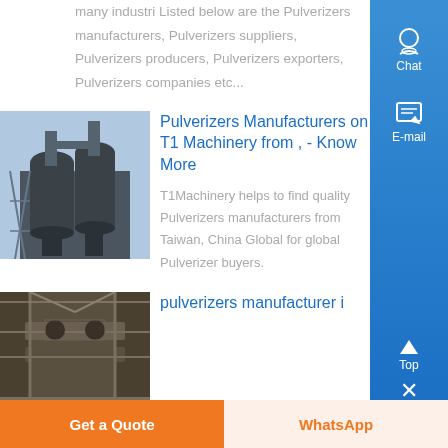many industri Listed below are the Pulverizers manufacturers, Pulverizers suppliers, Pulverizers producers, Pulverizers exporters, Pulverizers companies etc...
[Figure (photo): Industrial pulverizer/dust collector machinery outside against sky]
Pulverizers Manufacturers on T1 Machinery from , - Know More
T1Machinery helps to find quality Pulverizers manufacturers from Taiwan, China Global for global Pulverizer buyers.
[Figure (photo): Industrial pulverizer facility interior structure]
pulverizers manufacturer i
Get a Quote
WhatsApp